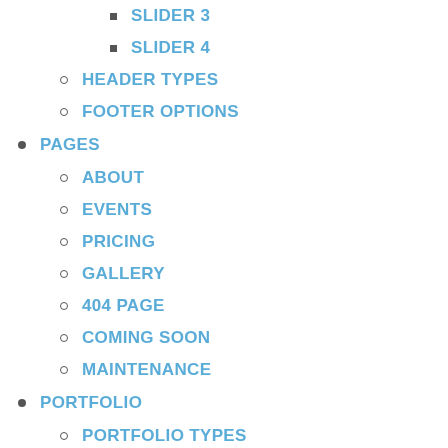SLIDER 3
SLIDER 4
HEADER TYPES
FOOTER OPTIONS
PAGES
ABOUT
EVENTS
PRICING
GALLERY
404 PAGE
COMING SOON
MAINTENANCE
PORTFOLIO
PORTFOLIO TYPES
COLUMN
2 COLUMNS
3 COLUMNS
4 COLUMNS
PORTFOLIO STYLE 1
PORTFOLIO STYLE 2
COLUMN
PORTFOLIO STYLE 3